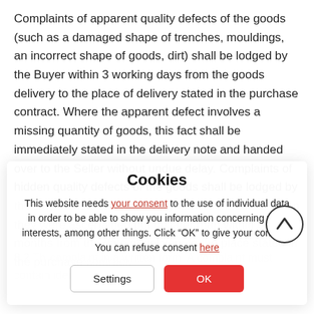Complaints of apparent quality defects of the goods (such as a damaged shape of trenches, mouldings, an incorrect shape of goods, dirt) shall be lodged by the Buyer within 3 working days from the goods delivery to the place of delivery stated in the purchase contract. Where the apparent defect involves a missing quantity of goods, this fact shall be immediately stated in the delivery note and handed over to the Seller without undue delay. Complaints of hidden quality defects of the goods shall be lodged by the Buyer without undue delay from the moment when they were ascertained but no later than within 6 months from the date of delivery to the place stated in the purchase contract.
8.2 The complaint in a written form. A complaint must contain identification...
Cookies
This website needs your consent to the use of individual data in order to be able to show you information concerning your interests, among other things. Click "OK" to give your consent. You can refuse consent here